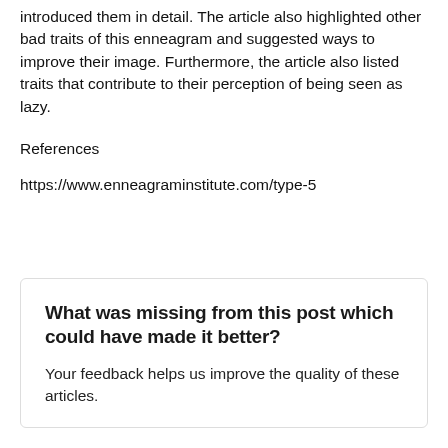introduced them in detail. The article also highlighted other bad traits of this enneagram and suggested ways to improve their image. Furthermore, the article also listed traits that contribute to their perception of being seen as lazy.
References
https://www.enneagraminstitute.com/type-5
What was missing from this post which could have made it better?
Your feedback helps us improve the quality of these articles.